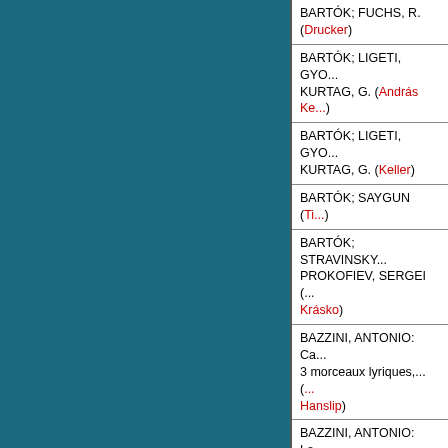BARTÓK; FUCHS, R. (Drucker)
BARTÓK; LIGETI, GYO... KURTAG, G. (András Ke...)
BARTÓK; LIGETI, GYO... KURTAG, G. (Keller)
BARTÓK; SAYGUN (Ti...)
BARTÓK; STRAVINSKY... PROKOFIEV, SERGEI (... Krásko)
BAZZINI, ANTONIO: Ca... 3 morceaux lyriques,... (... Hanslip)
BAZZINI, ANTONIO: La... des lutins, op. 25... (Luca...)
BAZZINI, ANTONIO: W... Violin and Piano, Vol.... (... Alberto Bianchi)
BAZZINI, ANTONIO: W... Violin and Piano, Vol.... (... Alberto Bianchi)
BAZZINI, ANTONIO: W... Violin and Piano, Vol....